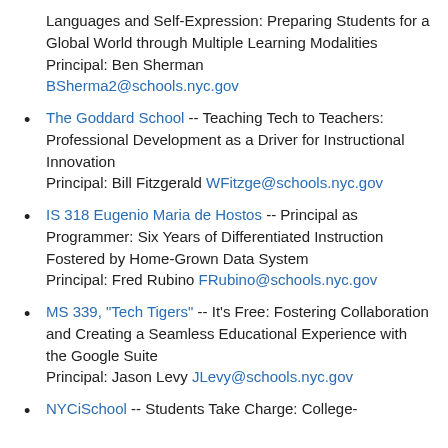Languages and Self-Expression: Preparing Students for a Global World through Multiple Learning Modalities
Principal: Ben Sherman
BSherma2@schools.nyc.gov
The Goddard School -- Teaching Tech to Teachers: Professional Development as a Driver for Instructional Innovation
Principal: Bill Fitzgerald WFitzge@schools.nyc.gov
IS 318 Eugenio Maria de Hostos -- Principal as Programmer: Six Years of Differentiated Instruction Fostered by Home-Grown Data System
Principal: Fred Rubino FRubino@schools.nyc.gov
MS 339, "Tech Tigers" -- It's Free: Fostering Collaboration and Creating a Seamless Educational Experience with the Google Suite
Principal: Jason Levy JLevy@schools.nyc.gov
NYCiSchool -- Students Take Charge: College-